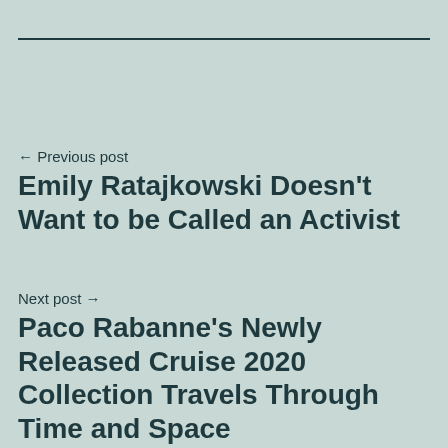← Previous post
Emily Ratajkowski Doesn't Want to be Called an Activist
Next post →
Paco Rabanne's Newly Released Cruise 2020 Collection Travels Through Time and Space